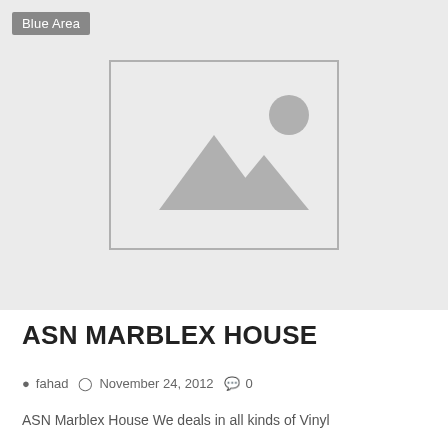[Figure (photo): Placeholder image with mountain and sun icon on light grey background]
Blue Area
ASN MARBLEX HOUSE
fahad  November 24, 2012  0
ASN Marblex House We deals in all kinds of Vinyl